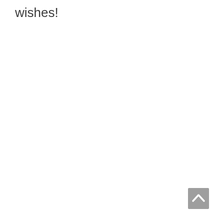wishes!
[Figure (other): A back-to-top button: a grey square with a white upward-pointing chevron arrow in the bottom-right corner of the page.]